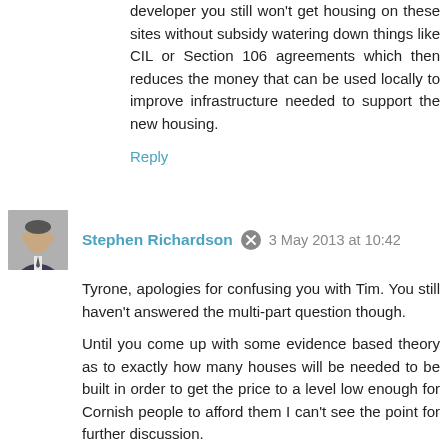developer you still won't get housing on these sites without subsidy watering down things like CIL or Section 106 agreements which then reduces the money that can be used locally to improve infrastructure needed to support the new housing.
Reply
Stephen Richardson  3 May 2013 at 10:42
Tyrone, apologies for confusing you with Tim. You still haven't answered the multi-part question though.
Until you come up with some evidence based theory as to exactly how many houses will be needed to be built in order to get the price to a level low enough for Cornish people to afford them I can't see the point for further discussion.
I think we will have to agree to disagree on housing need and how to address it - we simply won't find much common ground.